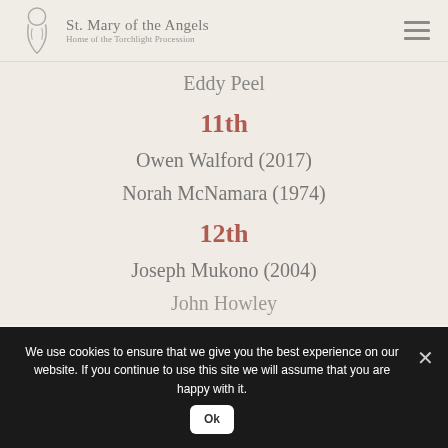St. Mary of the Angels — Home of the Torchlight Procession
Eddy Peel
11th
Owen Walford (2017)
Norah McNamara (1974)
12th
Joseph Mukono (2004)
John Howley
We use cookies to ensure that we give you the best experience on our website. If you continue to use this site we will assume that you are happy with it.